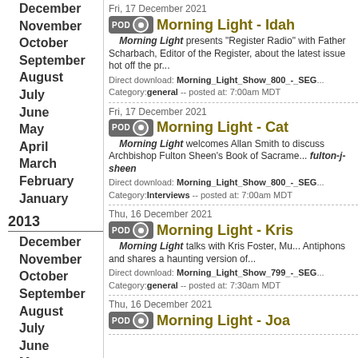December
November
October
September
August
July
June
May
April
March
February
January
2013
December
November
October
September
August
July
June
May
April
March
February
January
2012
November
December 2021
Fri, 17 December 2021
Morning Light - Idah...
Morning Light presents "Register Radio" with Father Scharbach, Editor of the Register, about the latest issue hot off the pr...
Direct download: Morning_Light_Show_800_-_SEG...
Category:general -- posted at: 7:00am MDT
Fri, 17 December 2021
Morning Light - Cat...
Morning Light welcomes Allan Smith to discuss Archbishop Fulton Sheen's Book of Sacra... fulton-j-sheen
Direct download: Morning_Light_Show_800_-_SEG...
Category:Interviews -- posted at: 7:00am MDT
Thu, 16 December 2021
Morning Light - Kris...
Morning Light talks with Kris Foster, Mu... Antiphons and shares a haunting version of...
Direct download: Morning_Light_Show_799_-_SEG...
Category:general -- posted at: 7:30am MDT
Thu, 16 December 2021
Morning Light - Joa...